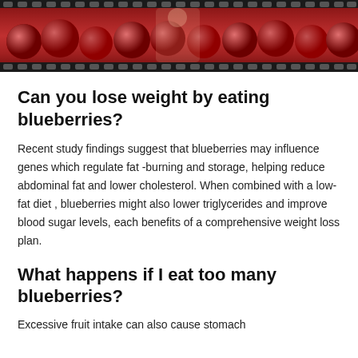[Figure (photo): Photo of red cherries/fruit in a wooden crate with a person in the background, framed by film strip borders at top and bottom]
Can you lose weight by eating blueberries?
Recent study findings suggest that blueberries may influence genes which regulate fat -burning and storage, helping reduce abdominal fat and lower cholesterol. When combined with a low- fat diet , blueberries might also lower triglycerides and improve blood sugar levels, each benefits of a comprehensive weight loss plan.
What happens if I eat too many blueberries?
Excessive fruit intake can also cause stomach